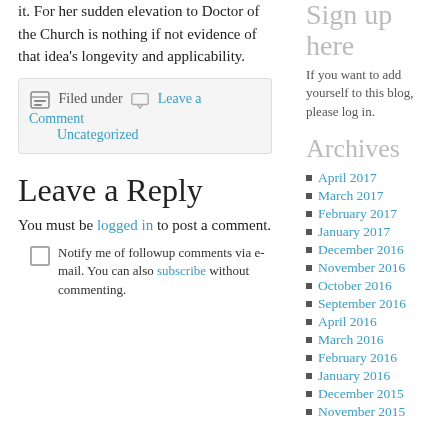it. For her sudden elevation to Doctor of the Church is nothing if not evidence of that idea's longevity and applicability.
Filed under  Leave a Comment  Uncategorized
Leave a Reply
You must be logged in to post a comment.
Notify me of followup comments via e-mail. You can also subscribe without commenting.
Sign up here
If you want to add yourself to this blog, please log in.
Archives
April 2017
March 2017
February 2017
January 2017
December 2016
November 2016
October 2016
September 2016
April 2016
March 2016
February 2016
January 2016
December 2015
November 2015